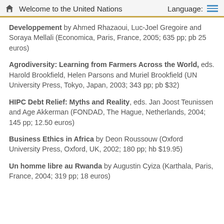Welcome to the United Nations | Language:
Developpement by Ahmed Rhazaoui, Luc-Joel Gregoire and Soraya Mellali (Economica, Paris, France, 2005; 635 pp; pb 25 euros)
Agrodiversity: Learning from Farmers Across the World, eds. Harold Brookfield, Helen Parsons and Muriel Brookfield (UN University Press, Tokyo, Japan, 2003; 343 pp; pb $32)
HIPC Debt Relief: Myths and Reality, eds. Jan Joost Teunissen and Age Akkerman (FONDAD, The Hague, Netherlands, 2004; 145 pp; 12.50 euros)
Business Ethics in Africa by Deon Roussouw (Oxford University Press, Oxford, UK, 2002; 180 pp; hb $19.95)
Un homme libre au Rwanda by Augustin Cyiza (Karthala, Paris, France, 2004; 319 pp; 18 euros)